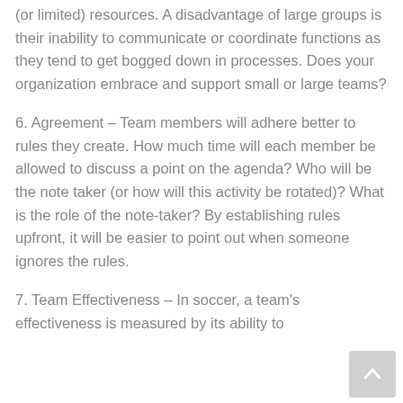(or limited) resources. A disadvantage of large groups is their inability to communicate or coordinate functions as they tend to get bogged down in processes. Does your organization embrace and support small or large teams?
6. Agreement – Team members will adhere better to rules they create. How much time will each member be allowed to discuss a point on the agenda? Who will be the note taker (or how will this activity be rotated)? What is the role of the note-taker? By establishing rules upfront, it will be easier to point out when someone ignores the rules.
7. Team Effectiveness – In soccer, a team's effectiveness is measured by its ability to